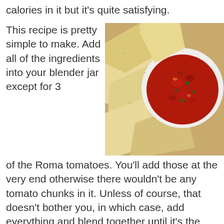calories in it but it's quite satisfying.
This recipe is pretty simple to make. Add all of the ingredients into your blender jar except for 3 of the Roma tomatoes. You'll add those at the very end otherwise there wouldn't be any tomato chunks in it. Unless of course, that doesn't bother you, in which case, add everything and blend together until it's the desired consistency. For a tip, you can make it the day before as the flavors will marinate together the
[Figure (photo): A bowl of red salsa surrounded by tortilla chips on a wooden surface]